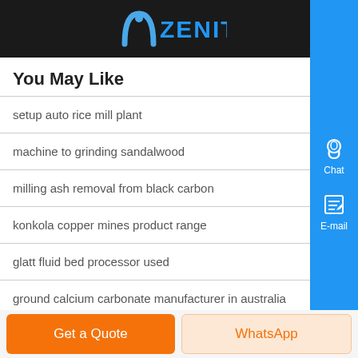ZENIT
You May Like
setup auto rice mill plant
machine to grinding sandalwood
milling ash removal from black carbon
konkola copper mines product range
glatt fluid bed processor used
ground calcium carbonate manufacturer in australia
asphalt manufacturer in the philippines
Get a Quote
WhatsApp